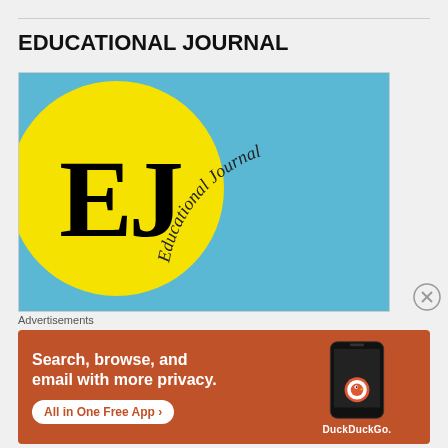EDUCATIONAL JOURNAL
[Figure (logo): Educational Journal logo: yellow circle on blue background with large 'EJ' letters and 'Educational Journal' text arced around the top-right of the circle]
Advertisements
[Figure (illustration): DuckDuckGo advertisement banner: orange background with white bold text 'Search, browse, and email with more privacy.' and 'All in One Free App' button, with a smartphone image showing the DuckDuckGo app and DuckDuckGo logo/text]